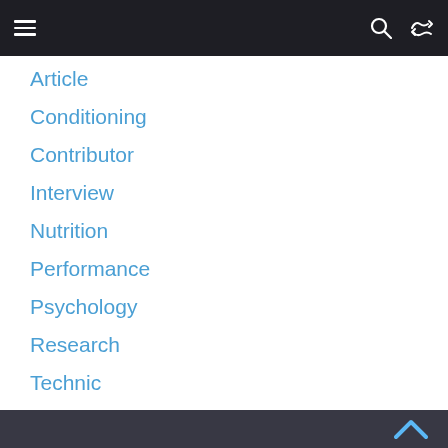☰  🔍  ⇄
Article
Conditioning
Contributor
Interview
Nutrition
Performance
Psychology
Research
Technic
Video
▲